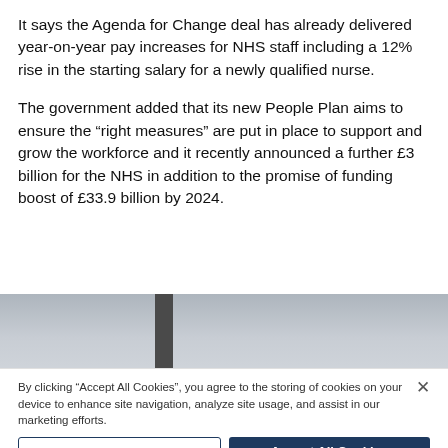It says the Agenda for Change deal has already delivered year-on-year pay increases for NHS staff including a 12% rise in the starting salary for a newly qualified nurse.
The government added that its new People Plan aims to ensure the “right measures” are put in place to support and grow the workforce and it recently announced a further £3 billion for the NHS in addition to the promise of funding boost of £33.9 billion by 2024.
[Figure (photo): Partial outdoor photo showing a cloudy grey sky with a dark vertical pole or column structure visible.]
By clicking “Accept All Cookies”, you agree to the storing of cookies on your device to enhance site navigation, analyze site usage, and assist in our marketing efforts.